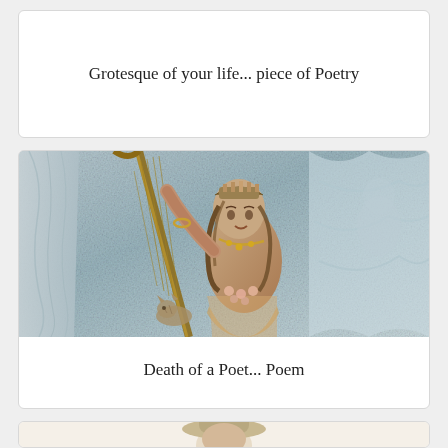Grotesque of your life... piece of Poetry
[Figure (illustration): A classical illustration of a woman holding a large harp-like instrument, wearing ornate headdress and jewelry, set against a blue-grey textured stone background with draped fabric.]
Death of a Poet... Poem
[Figure (illustration): Partial view of a figure wearing a hat, cropped at the bottom of the page, against a light beige background.]